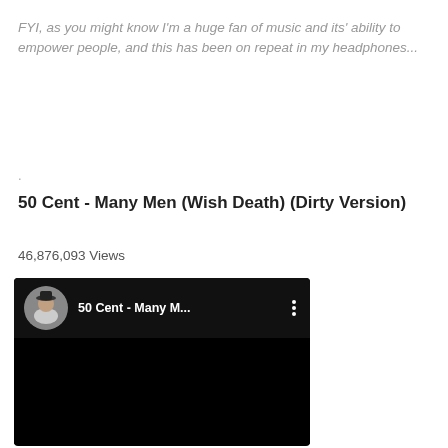FYI, as you might know I'm a huge fan of music and its' ability to empower people, and this has been on repeat in my headphones...
.
50 Cent - Many Men (Wish Death) (Dirty Version)
46,876,093 Views
[Figure (screenshot): YouTube video thumbnail showing '50 Cent - Many M...' with a circular avatar of 50 Cent and a three-dot menu icon, on a black background]